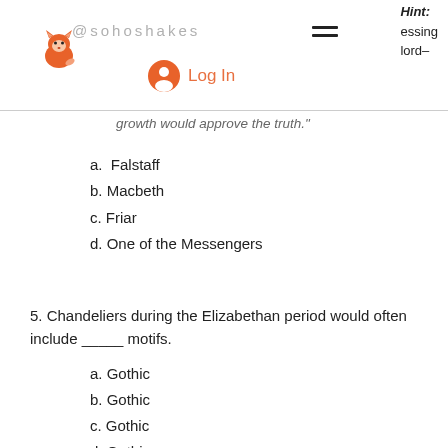@sohoshakes | Hint: ...essing ...lord-
growth would approve the truth."
a.  Falstaff
b. Macbeth
c. Friar
d. One of the Messengers
5. Chandeliers during the Elizabethan period would often include _____ motifs.
a. Gothic
b. Gothic
c. Gothic
d. Gothic